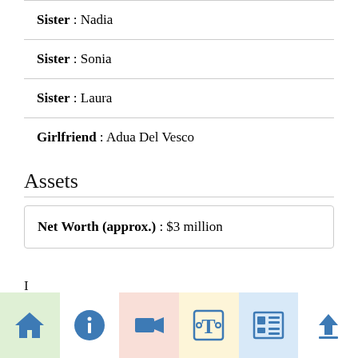| Sister : Nadia |
| Sister : Sonia |
| Sister : Laura |
| Girlfriend : Adua Del Vesco |
Assets
| Net Worth (approx.) : $3 million |